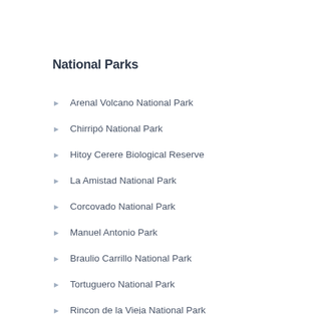National Parks
Arenal Volcano National Park
Chirripó National Park
Hitoy Cerere Biological Reserve
La Amistad National Park
Corcovado National Park
Manuel Antonio Park
Braulio Carrillo National Park
Tortuguero National Park
Rincon de la Vieja National Park
Palo Verde National Park